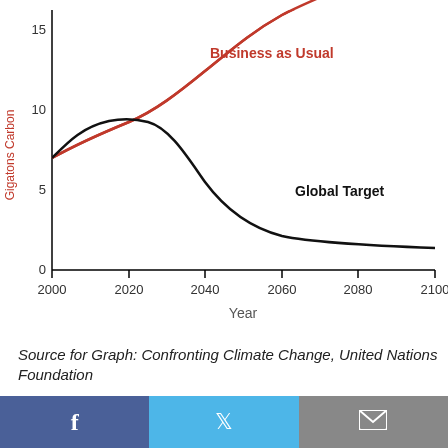[Figure (continuous-plot): Line chart showing two curves from 2000 to 2100. Red curve labeled 'Business as Usual' starts at ~7 gigatons carbon in 2000 and rises exponentially to ~18 by 2100. Black curve labeled 'Global Target' starts at ~7, peaks at ~9.3 around 2015-2020, then declines steadily to ~1.5 by 2100. Y-axis: Gigatons Carbon (0, 5, 10, 15). X-axis: Year (2000, 2020, 2040, 2060, 2080, 2100).]
Source for Graph: Confronting Climate Change, United Nations Foundation